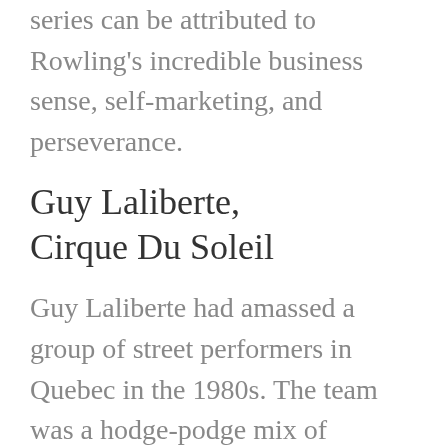series can be attributed to Rowling's incredible business sense, self-marketing, and perseverance.
Guy Laliberte, Cirque Du Soleil
Guy Laliberte had amassed a group of street performers in Quebec in the 1980s. The team was a hodge-podge mix of acrobats and circus performers. When Laliberte suggested that the team